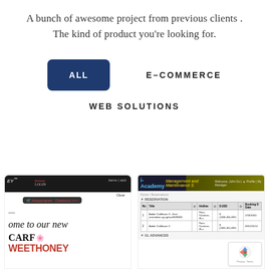A bunch of awesome project from previous clients . The kind of product you're looking for.
ALL
E-COMMERCE
WEB SOLUTIONS
[Figure (screenshot): Screenshot of a website with dark navigation bar, shopping cart element, italic welcome text 'ome to our new...' and CARF WEETHONEY branding]
[Figure (screenshot): Screenshot of i-Academy Management and Maintenance system showing a table with reservation data and a reCAPTCHA badge]